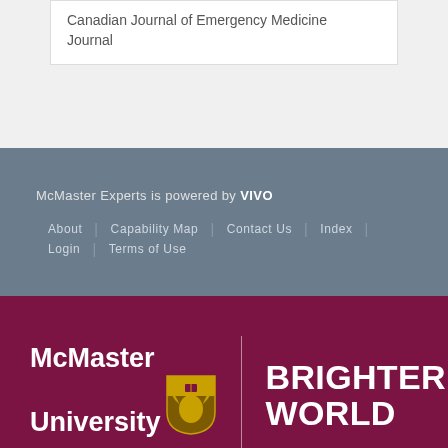Canadian Journal of Emergency Medicine Journal
McMaster Experts is powered by VIVO
About | Capability Map | Contact Us | Index | Login | Terms of Use
[Figure (logo): McMaster University logo with shield and BRIGHTER WORLD tagline on dark red background]
CONTACT